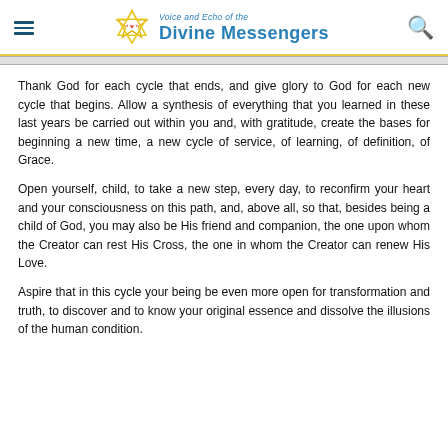Voice and Echo of the Divine Messengers
Thank God for each cycle that ends, and give glory to God for each new cycle that begins. Allow a synthesis of everything that you learned in these last years be carried out within you and, with gratitude, create the bases for beginning a new time, a new cycle of service, of learning, of definition, of Grace.
Open yourself, child, to take a new step, every day, to reconfirm your heart and your consciousness on this path, and, above all, so that, besides being a child of God, you may also be His friend and companion, the one upon whom the Creator can rest His Cross, the one in whom the Creator can renew His Love.
Aspire that in this cycle your being be even more open for transformation and truth, to discover and to know your original essence and dissolve the illusions of the human condition.